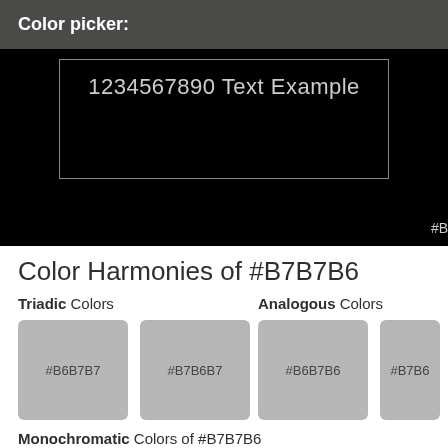Color picker:
[Figure (screenshot): Color picker preview area with black background showing text '1234567890 Text Example' in a bordered rectangle, and a partial hex label at bottom right.]
Color Harmonies of #B7B7B6
Triadic Colors
Analogous Colors
#B6B7B7
#B7B6B7
#B6B7B6
#B7B6
Monochromatic Colors of #B7B7B6